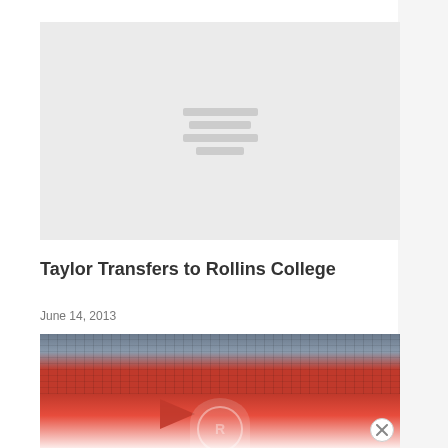[Figure (other): Gray placeholder image block with loading indicator lines]
Taylor Transfers to Rollins College
June 14, 2013
[Figure (photo): Stadium crowd photo showing packed red-clad fans in bleachers, with a Rollins College logo/flag visible at the bottom]